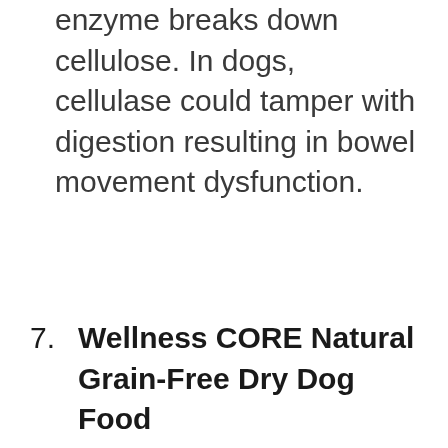enzyme breaks down cellulose. In dogs, cellulase could tamper with digestion resulting in bowel movement dysfunction.
7. Wellness CORE Natural Grain-Free Dry Dog Food